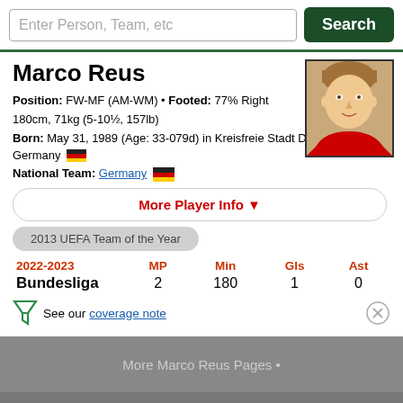Enter Person, Team, etc  Search
Marco Reus
Position: FW-MF (AM-WM) • Footed: 77% Right
180cm, 71kg (5-10½, 157lb)
Born: May 31, 1989 (Age: 33-079d) in Kreisfreie Stadt Dortmund, Germany
National Team: Germany
[Figure (photo): Headshot photo of Marco Reus]
More Player Info ▼
2013 UEFA Team of the Year
| 2022-2023 | MP | Min | Gls | Ast |
| --- | --- | --- | --- | --- |
| Bundesliga | 2 | 180 | 1 | 0 |
See our coverage note
More Marco Reus Pages •
Dortmund ▼    Germany ▼